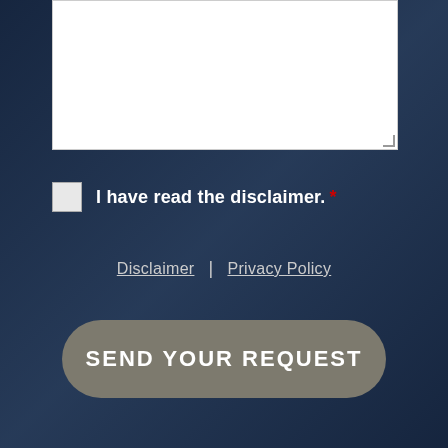[Figure (screenshot): White textarea input box at the top of a contact/request form on a dark blue background]
I have read the disclaimer. *
Disclaimer | Privacy Policy
SEND YOUR REQUEST